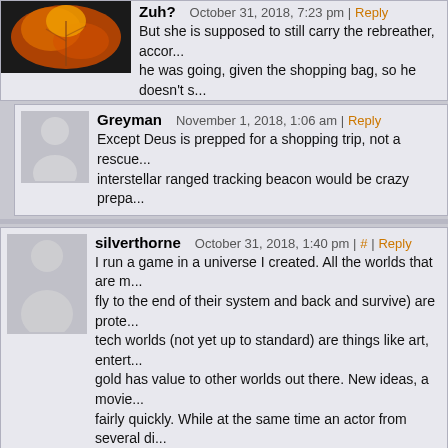Zuh? October 31, 2018, 7:23 pm | Reply
But she is supposed to still carry the rebreather, accor... he was going, given the shopping bag, so he doesn't s...
Greyman November 1, 2018, 1:06 am | Reply
Except Deus is prepped for a shopping trip, not a rescue... interstellar ranged tracking beacon would be crazy prepa...
silverthorne October 31, 2018, 1:40 pm | # | Reply
I run a game in a universe I created. All the worlds that are m... fly to the end of their system and back and survive) are prote... tech worlds (not yet up to standard) are things like art, entert... gold has value to other worlds out there. New ideas, a movie... fairly quickly. While at the same time an actor from several di... duplicates and team up for a movie.*shrug* many possibilitie...
Elfguy October 31, 2018, 3:22 pm | Reply
Just had a mental picture of Arnold Schwarzenegger starri...
Viirin November 1, 2018, 2:08 am | Reply
He was in Predator.
CplDiablo November 1, 2018, 4:56 am | Reply